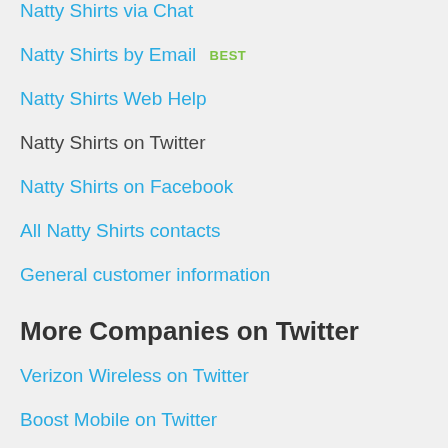Natty Shirts via Chat
Natty Shirts by Email BEST
Natty Shirts Web Help
Natty Shirts on Twitter
Natty Shirts on Facebook
All Natty Shirts contacts
General customer information
More Companies on Twitter
Verizon Wireless on Twitter
Boost Mobile on Twitter
Greyhound on Twitter
Metro PCS on Twitter